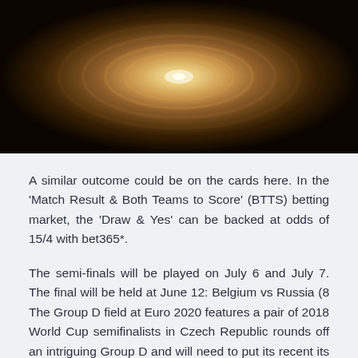[Figure (photo): Abstract tunnel/vortex photo with dark brown/amber tones, circular swirling pattern with bright center light]
A similar outcome could be on the cards here. In the ‘Match Result & Both Teams to Score’ (BTTS) betting market, the ‘Draw & Yes’ can be backed at odds of 15/4 with bet365*.
The semi-finals will be played on July 6 and July 7. The final will be held at June 12: Belgium vs Russia (8 The Group D field at Euro 2020 features a pair of 2018 World Cup semifinalists in Czech Republic rounds off an intriguing Group D and will need to put its recent its qualifying campaign, finishing third behind Belgi Scotland